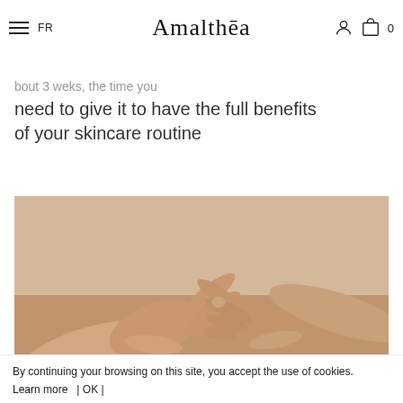Amalthea — FR | hamburger menu | user icon | cart 0
The skin completely renews itself in about 3 weeks, the time you need to give it to have the full benefits of your skincare routine
[Figure (photo): Two hands touching fingertips against a warm beige background, reminiscent of a skincare or wellness brand aesthetic.]
By continuing your browsing on this site, you accept the use of cookies. Learn more | OK |